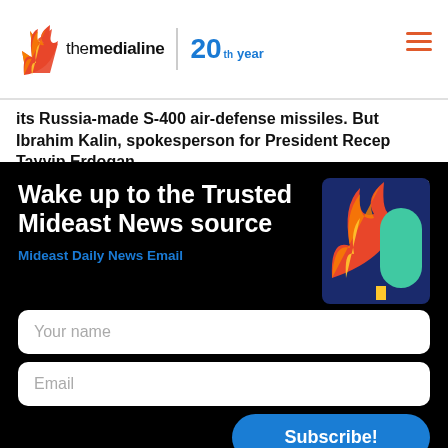themedialine | 20th year
its Russia-made S-400 air-defense missiles. But Ibrahim Kalin, spokesperson for President Recep Tayyip Erdogan
Wake up to the Trusted Mideast News source
Mideast Daily News Email
Your name
Email
Subscribe!
By subscribing, you agree to The Media Line terms of use and privacy policy.